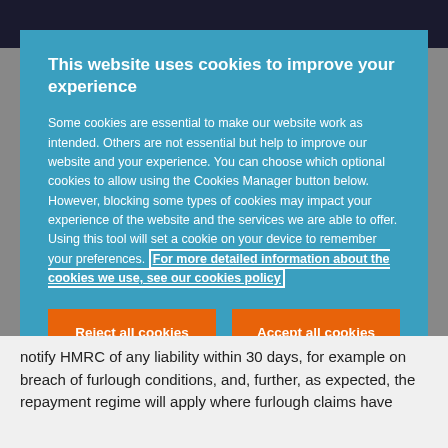This website uses cookies to improve your experience
Some cookies are essential to make our website work as intended. Others are not essential but help to improve our website and your experience. You can choose which optional cookies to allow using the Cookies Manager button below. However, blocking some types of cookies may impact your experience of the website and the services we are able to offer. Using this tool will set a cookie on your device to remember your preferences. For more detailed information about the cookies we use, see our cookies policy
Reject all cookies
Accept all cookies
Cookies Manager
notify HMRC of any liability within 30 days, for example on breach of furlough conditions, and, further, as expected, the repayment regime will apply where furlough claims have